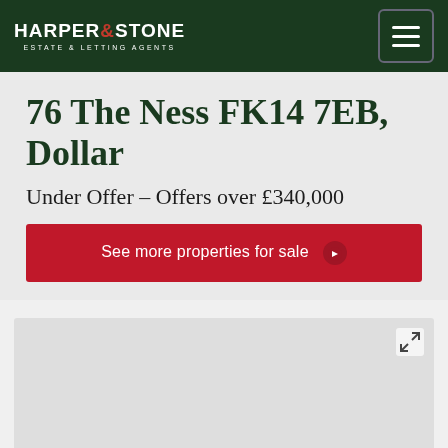HARPER & STONE ESTATE & LETTING AGENTS
76 The Ness FK14 7EB, Dollar
Under Offer – Offers over £340,000
See more properties for sale
[Figure (photo): Property photo placeholder (partially visible at bottom of page)]